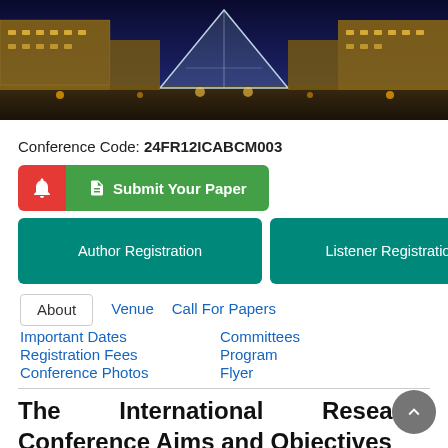[Figure (photo): Night panoramic photo of the Louvre Museum in Paris with illuminated glass pyramid in center]
Conference Code: 24FR12ICABCM003
[Figure (screenshot): Red bell icon button and green Submit Your Paper button]
[Figure (screenshot): Teal Author Registration and Listener Registration buttons]
About
Venue
Call For Papers
Important Dates
Committees
Registration Fees
Program
Conference Photos
Flyer
The International Research Conference Aims and Objectives